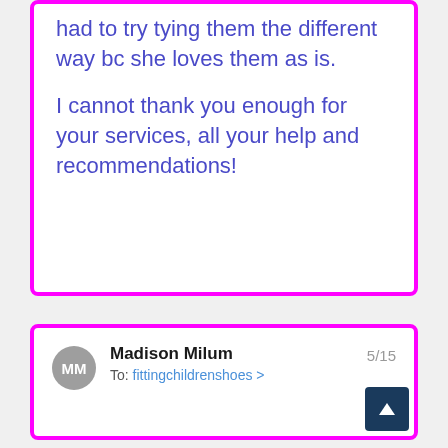had to try tying them the different way bc she loves them as is.

I cannot thank you enough for your services, all your help and recommendations!
Madison Milum
To: fittingchildrenshoes >
5/15